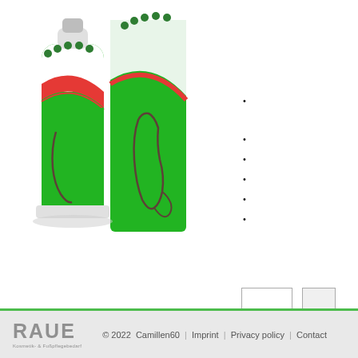[Figure (illustration): Product image showing a green tube of foot cream and a green product box with foot print logo design, white caps, green and red wave pattern]
© 2022  Camillen60  |  Imprint  |  Privacy policy  |  Contact